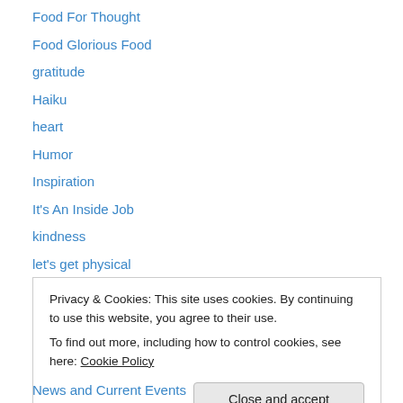Food For Thought
Food Glorious Food
gratitude
Haiku
heart
Humor
Inspiration
It's An Inside Job
kindness
let's get physical
letting go
Life Experience
Light In The World
Privacy & Cookies: This site uses cookies. By continuing to use this website, you agree to their use. To find out more, including how to control cookies, see here: Cookie Policy
News and Current Events